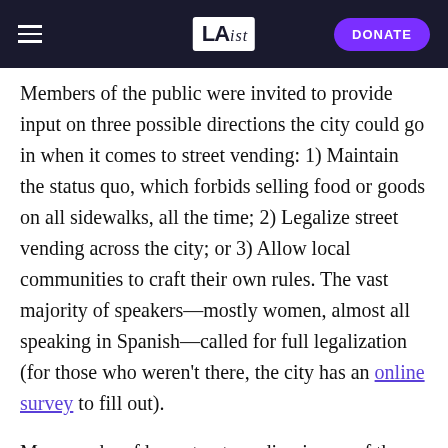LAist — DONATE
Members of the public were invited to provide input on three possible directions the city could go in when it comes to street vending: 1) Maintain the status quo, which forbids selling food or goods on all sidewalks, all the time; 2) Legalize street vending across the city; or 3) Allow local communities to craft their own rules. The vast majority of speakers—mostly women, almost all speaking in Spanish—called for full legalization (for those who weren't there, the city has an online survey to fill out).
Many spoke of how street vending is one of the few